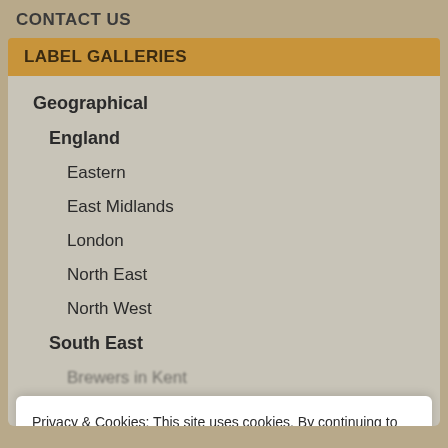CONTACT US
LABEL GALLERIES
Geographical
England
Eastern
East Midlands
London
North East
North West
South East
Brewers in Kent
Privacy & Cookies: This site uses cookies. By continuing to use this website, you agree to their use.
To find out more, including how to control cookies, see here: Cookie Policy
Close and accept